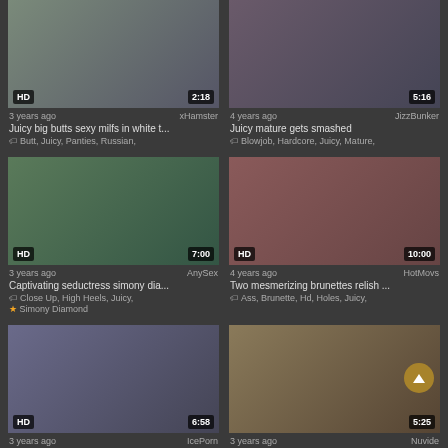[Figure (screenshot): Video thumbnail 1 with HD badge and 2:18 duration]
3 years ago   xHamster
Juicy big butts sexy milfs in white t...
Butt, Juicy, Panties, Russian,
[Figure (screenshot): Video thumbnail 2 with 5:16 duration]
4 years ago   JizzBunker
Juicy mature gets smashed
Blowjob, Hardcore, Juicy, Mature,
[Figure (screenshot): Video thumbnail 3 with HD badge and 7:00 duration]
3 years ago   AnySex
Captivating seductress simony dia...
Close Up, High Heels, Juicy,
Simony Diamond
[Figure (screenshot): Video thumbnail 4 with HD badge and 10:00 duration]
4 years ago   HotMovs
Two mesmerizing brunettes relish ...
Ass, Brunette, Hd, Holes, Juicy,
[Figure (screenshot): Video thumbnail 5 with HD badge and 6:58 duration]
3 years ago   IcePorn
[Figure (screenshot): Video thumbnail 6 with 5:25 duration]
3 years ago   Nuvide